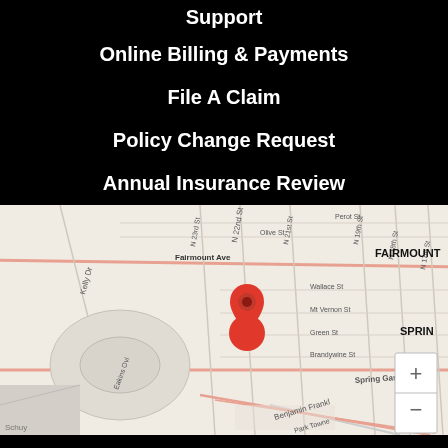Support
Online Billing & Payments
File A Claim
Policy Change Request
Annual Insurance Review
[Figure (map): Google Maps view showing location pin near N 22nd St and Spring Garden St in Philadelphia, PA. Nearby streets include Fairmount Ave, Kelly Dr, N 23rd St, N 21st St, N 19th St, N 18th St, N 17th St, Wallace St, Mt Vernon St, Green St, Brandywine St, Eakins Oval, Benjamin Franklin, Park Towne. Neighborhoods labeled: FAIRMOUNT, SPRIN, FRANKLINTOW. Zoom in/out controls visible on right side.]